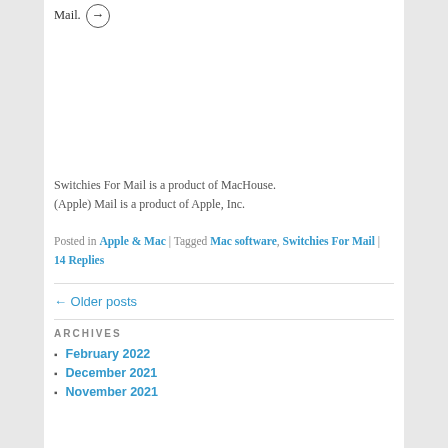Mail. →
Switchies For Mail is a product of MacHouse.
(Apple) Mail is a product of Apple, Inc.
Posted in Apple & Mac | Tagged Mac software, Switchies For Mail | 14 Replies
← Older posts
ARCHIVES
February 2022
December 2021
November 2021